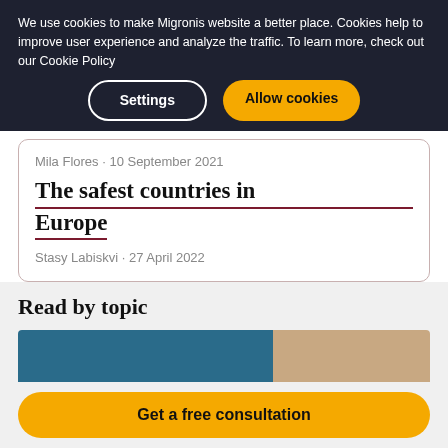We use cookies to make Migronis website a better place. Cookies help to improve user experience and analyze the traffic. To learn more, check out our Cookie Policy
Settings | Allow cookies
Mila Flores · 10 September 2021
The safest countries in Europe
Stasy Labiskvi · 27 April 2022
Read by topic
[Figure (photo): Partial image strip showing a teal/blue section and a skin-toned section]
Get a free consultation